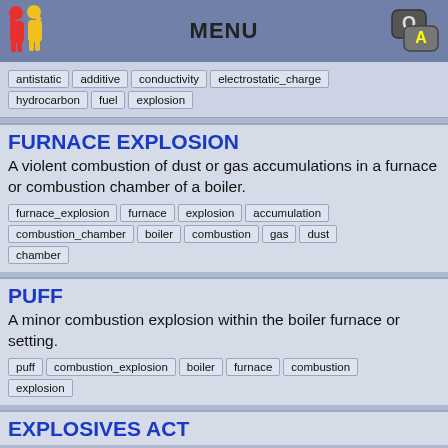MENU
antistatic | additive | conductivity | electrostatic_charge | hydrocarbon | fuel | explosion
FURNACE EXPLOSION
A violent combustion of dust or gas accumulations in a furnace or combustion chamber of a boiler.
furnace_explosion | furnace | explosion | accumulation | combustion_chamber | boiler | combustion | gas | dust | chamber
PUFF
A minor combustion explosion within the boiler furnace or setting.
puff | combustion_explosion | boiler | furnace | combustion | explosion
EXPLOSIVES ACT